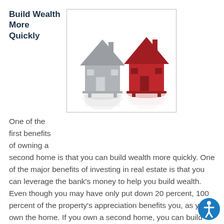Build Wealth More Quickly
[Figure (illustration): Two 3D house figurines side by side — one silver/grey and one red — on a white reflective surface, representing a second home investment concept.]
One of the first benefits of owning a second home is that you can build wealth more quickly. One of the major benefits of investing in real estate is that you can leverage the bank's money to help you build wealth. Even though you may have only put down 20 percent, 100 percent of the property's appreciation benefits you, as you own the home. If you own a second home, you can build wealth more quickly because you are doing this with two separate properties.